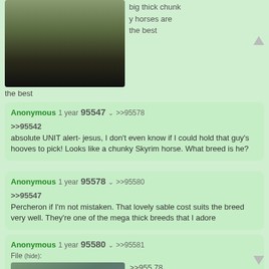[Figure (photo): Photo of a large dark horse (chunky draft breed) standing on grass, partially visible from lower body]
big thick chunky horses are the best
Anonymous 1 year 95547 >>95578
>>95542
absolute UNIT alert- jesus, I don't even know if I could hold that guy's hooves to pick! Looks like a chunky Skyrim horse. What breed is he?
Anonymous 1 year 95578 >>95580
>>95547
Percheron if I'm not mistaken. That lovely sable cost suits the breed very well. They're one of the mega thick breeds that I adore
Anonymous 1 year 95580 >>95581
File (hide):
[Figure (photo): Photo of a grey/dapple horse standing outdoors near a street lamp with trees in background]
>>95578
Samefag, but just